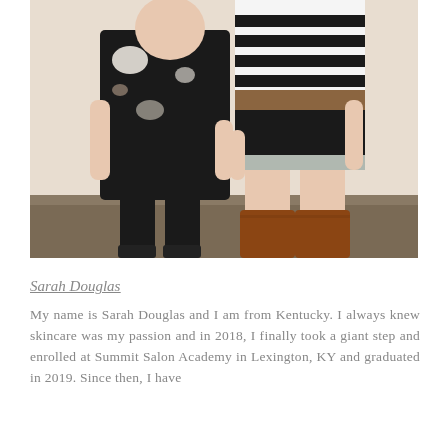[Figure (photo): Two women standing together indoors. The woman on the left is wearing a black floral top and black pants with flat shoes. The woman on the right is wearing a black and white striped top with a short skirt, brown knee-high boots, and a brown belt.]
Sarah Douglas
My name is Sarah Douglas and I am from Kentucky. I always knew skincare was my passion and in 2018, I finally took a giant step and enrolled at Summit Salon Academy in Lexington, KY and graduated in 2019. Since then, I have